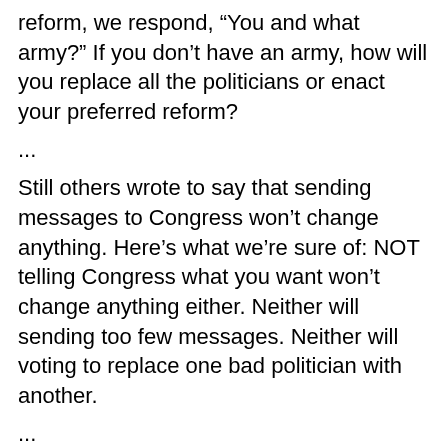reform, we respond, “You and what army?” If you don’t have an army, how will you replace all the politicians or enact your preferred reform?
...
Still others wrote to say that sending messages to Congress won’t change anything. Here’s what we’re sure of: NOT telling Congress what you want won’t change anything either. Neither will sending too few messages. Neither will voting to replace one bad politician with another.
...
And NO tactic or strategy can work if it is pursued by TOO FEW PEOPLE.
...
We want what YOU want. BUT WE NEED AN ARMY TO